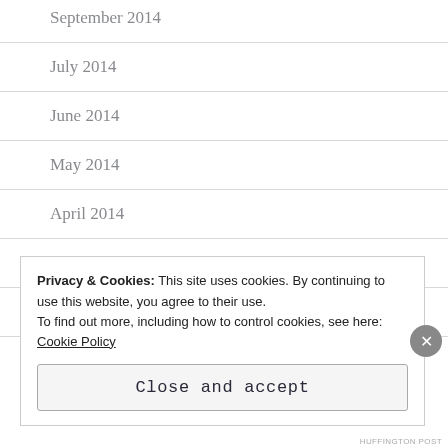September 2014
July 2014
June 2014
May 2014
April 2014
March 2014
February 2014
Privacy & Cookies: This site uses cookies. By continuing to use this website, you agree to their use.
To find out more, including how to control cookies, see here:
Cookie Policy
Close and accept